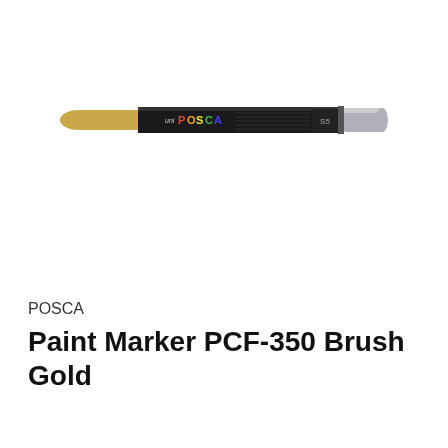[Figure (photo): A uni POSCA Paint Marker PCF-350 Brush pen in gold color. The marker body is gold/metallic on the left tip end, with a black barrel showing the uni POSCA logo with colorful letters, and a silver/grey cap on the right end.]
POSCA
Paint Marker PCF-350 Brush Gold